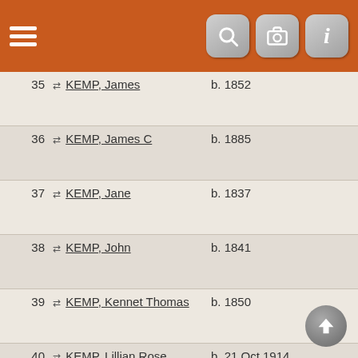[Figure (screenshot): Orange header bar with hamburger menu icon on left and three icon buttons (search, camera, info) on right]
| # | Name | Birth | Place |
| --- | --- | --- | --- |
| 35 | KEMP, James | b. 1852 | Sholden, Kent 🔍 |
| 36 | KEMP, James C | b. 1885 | Selling, Kent 🔍 |
| 37 | KEMP, Jane | b. 1837 | Sholden, Kent 🔍 |
| 38 | KEMP, John | b. 1841 | Sholden, Kent 🔍 |
| 39 | KEMP, Kennet Thomas | b. 1850 | Tilmanstone, Kent 🔍 |
| 40 | KEMP, Lillian Rose | b. 21 Oct 1914 | Camberwell, London 🔍 |
| 41 | KEMP, Mary | b. 1844 | Sholden, Kent 🔍 |
| 42 | KEMP, Mary | b. 1850 | Woodnesborough, Kent 🔍 |
| 43 | KEMP, Mary E | b. 1874 | Northbourne, Kent 🔍 |
| 44 | KEMP, Mary Elizabeth | b. 1853 | Tilmanstone, Kent 🔍 |
| 45 | KEMP, Rose Laurie |  |  |
| 46 | KEMP, Stephen T | b. 1883 | Harbledown, Kent 🔍 |
| 47 | KEMP, Thomas |  |  |
| 48 | KEMP, Thomas | b. 1807 | Sholden, Kent 🔍 |